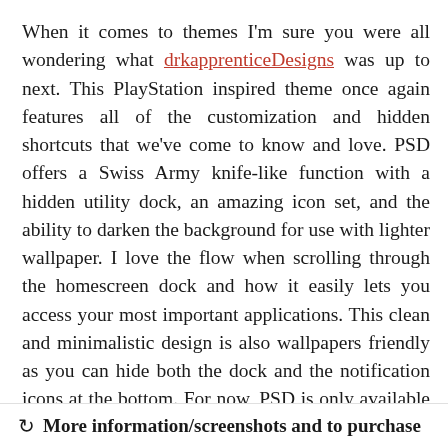When it comes to themes I'm sure you were all wondering what drkapprenticeDesigns was up to next. This PlayStation inspired theme once again features all of the customization and hidden shortcuts that we've come to know and love. PSD offers a Swiss Army knife-like function with a hidden utility dock, an amazing icon set, and the ability to darken the background for use with lighter wallpaper. I love the flow when scrolling through the homescreen dock and how it easily lets you access your most important applications. This clean and minimalistic design is also wallpapers friendly as you can hide both the dock and the notification icons at the bottom. For now, PSD is only available for the 99xx and is available at the link below for $1.99.
More information/screenshots and to purchase